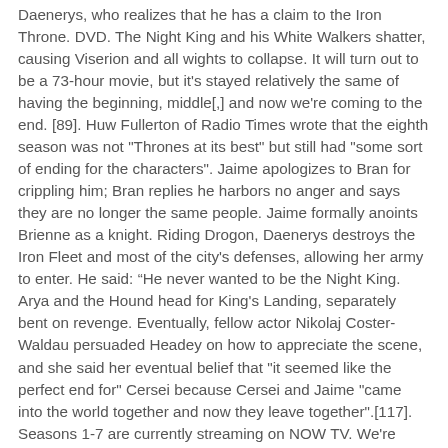Daenerys, who realizes that he has a claim to the Iron Throne. DVD. The Night King and his White Walkers shatter, causing Viserion and all wights to collapse. It will turn out to be a 73-hour movie, but it's stayed relatively the same of having the beginning, middle[,] and now we're coming to the end. [89]. Huw Fullerton of Radio Times wrote that the eighth season was not "Thrones at its best" but still had "some sort of ending for the characters". Jaime apologizes to Bran for crippling him; Bran replies he harbors no anger and says they are no longer the same people. Jaime formally anoints Brienne as a knight. Riding Drogon, Daenerys destroys the Iron Fleet and most of the city's defenses, allowing her army to enter. He said: “He never wanted to be the Night King. Arya and the Hound head for King's Landing, separately bent on revenge. Eventually, fellow actor Nikolaj Coster-Waldau persuaded Headey on how to appreciate the scene, and she said her eventual belief that "it seemed like the perfect end for" Cersei because Cersei and Jaime "came into the world together and now they leave together".[117]. Seasons 1-7 are currently streaming on NOW TV. We're heading into the final lap". "[42], In an interview with Entertainment Weekly, HBO programming president Casey Bloys said that instead of the series finale's being a feature film, the final season would be "six one-hour episodes" not television. Among the decisions Cersei had come to terms...